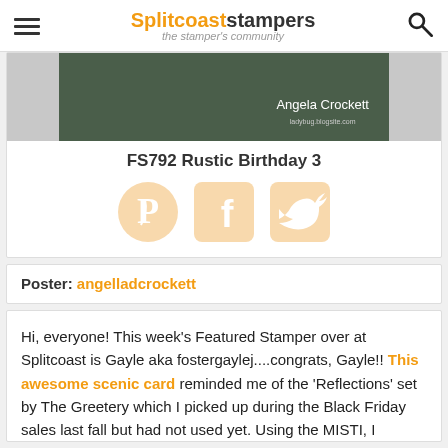Splitcoaststampers – the stamper's community
[Figure (photo): Cropped photo of a handmade card with dark green mat and light blue background, with handwritten signature 'Angela Crockett' and a watermark URL]
FS792 Rustic Birthday 3
[Figure (infographic): Social share icons: Pinterest (circular logo), Facebook (f logo), Twitter (bird logo) — all in light peach/orange color]
Poster: angelladcrockett
Hi, everyone! This week's Featured Stamper over at Splitcoast is Gayle aka fostergaylej....congrats, Gayle!! This awesome scenic card reminded me of the 'Reflections' set by The Greetery which I picked up during the Black Friday sales last fall but had not used yet. Using the MISTI, I